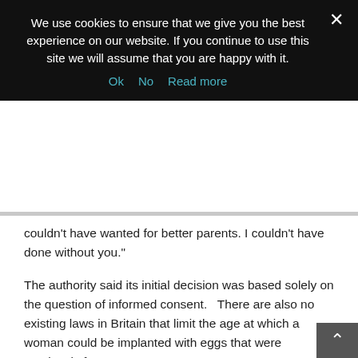We use cookies to ensure that we give you the best experience on our website. If you continue to use this site we will assume that you are happy with it.
Ok   No   Read more
couldn't have wanted for better parents. I couldn't have done without you."
The authority said its initial decision was based solely on the question of informed consent.   There are also no existing laws in Britain that limit the age at which a woman could be implanted with eggs that were previously frozen.
ADVERTISEMENT